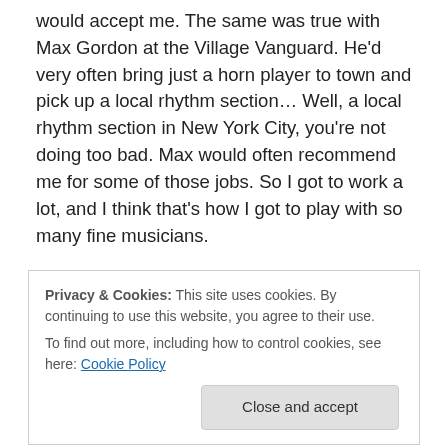would accept me. The same was true with Max Gordon at the Village Vanguard. He'd very often bring just a horn player to town and pick up a local rhythm section... Well, a local rhythm section in New York City, you're not doing too bad. Max would often recommend me for some of those jobs. So I got to work a lot, and I think that's how I got to play with so many fine musicians.
TP: Your experience playing with John Coltrane in 1959 and 1960.
PLR: Obviously a great experience. It was a great job in
Privacy & Cookies: This site uses cookies. By continuing to use this website, you agree to their use.
To find out more, including how to control cookies, see here: Cookie Policy
opposite Monk, Dizzy Gillespie, Chico Hamilton, Count